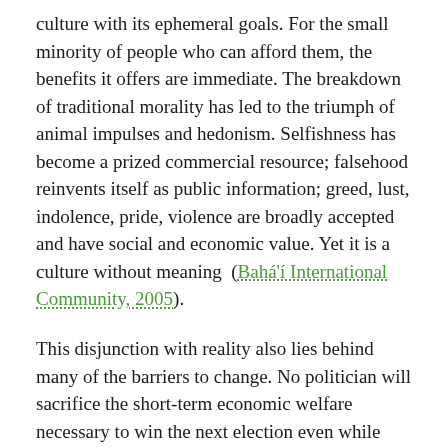culture with its ephemeral goals. For the small minority of people who can afford them, the benefits it offers are immediate. The breakdown of traditional morality has led to the triumph of animal impulses and hedonism. Selfishness has become a prized commercial resource; falsehood reinvents itself as public information; greed, lust, indolence, pride, violence are broadly accepted and have social and economic value. Yet it is a culture without meaning (Bahá'í International Community, 2005).
This disjunction with reality also lies behind many of the barriers to change. No politician will sacrifice the short-term economic welfare necessary to win the next election even while paying lip service to the need for long-term sustainability. The deep social divisions within societies and between countries prevent unified action in the common interest, since there is a profound (and often justified) lack of trust. The concept of national sovereignty is used to maintain the primacy of self-interest over solidarity.
From a scientific perspective, it is clear that continuing with business as usual is not an option. The risks and costs of climate change alone